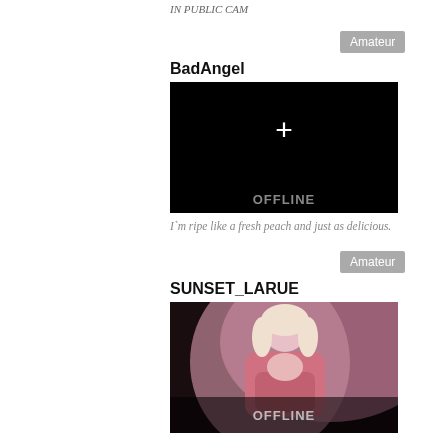IN PUBLIC CAM
Amateur
BadAngel
[Figure (screenshot): Black offline cam panel with a white plus sign in center and OFFLINE text at bottom]
I`m ripe like a fresh peach and just as delicious.
Amateur
SUNSET_LARUE
[Figure (photo): Photo of a blonde woman in a pink dress, with OFFLINE overlay text at the bottom]